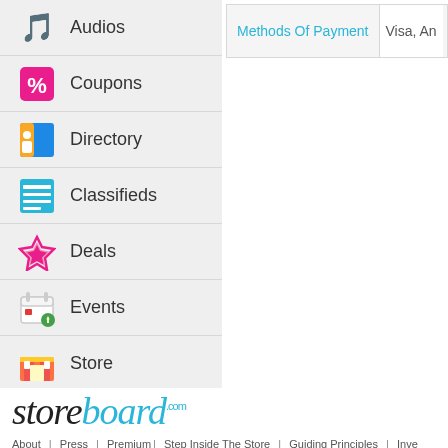Audios
Coupons
Directory
Classifieds
Deals
Events
Store
Methods Of Payment
Visa, An...
[Figure (logo): Storeboard.com logo with 'store' in dark italic and 'board' in cyan italic with '.com' superscript]
About | Press | Premium | Step Inside The Store | Guiding Principles | Inve...